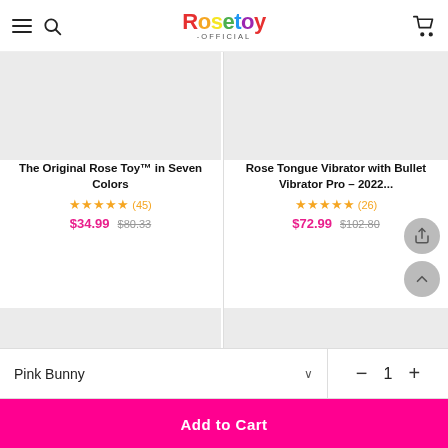Rosetoy Official
[Figure (photo): Product image placeholder for The Original Rose Toy™ in Seven Colors (gray rectangle)]
The Original Rose Toy™ in Seven Colors
★★★★★ (45) $34.99 $80.33
[Figure (photo): Product image placeholder for Rose Tongue Vibrator with Bullet Vibrator Pro – 2022... (gray rectangle)]
Rose Tongue Vibrator with Bullet Vibrator Pro – 2022...
★★★★★ (26) $72.99 $102.80
[Figure (photo): Bottom-left product image placeholder (gray rectangle)]
[Figure (photo): Bottom-right product image placeholder (gray rectangle)]
Pink Bunny
1
Add to Cart